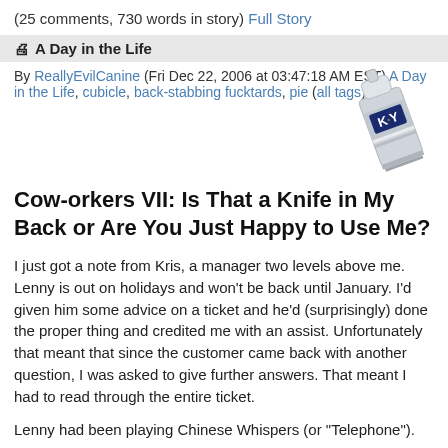(25 comments, 730 words in story) Full Story
A Day in the Life
By ReallyEvilCanine (Fri Dec 22, 2006 at 03:47:18 AM EST) A Day in the Life, cubicle, back-stabbing fucktards, pie (all tags)
[Figure (photo): A tube of K-Y lubricant gel, shown at an angle on a white background]
Cow-orkers VII: Is That a Knife in My Back or Are You Just Happy to Use Me?
I just got a note from Kris, a manager two levels above me. Lenny is out on holidays and won't be back until January. I'd given him some advice on a ticket and he'd (surprisingly) done the proper thing and credited me with an assist. Unfortunately that meant that since the customer came back with another question, I was asked to give further answers. That meant I had to read through the entire ticket.
Lenny had been playing Chinese Whispers (or "Telephone").